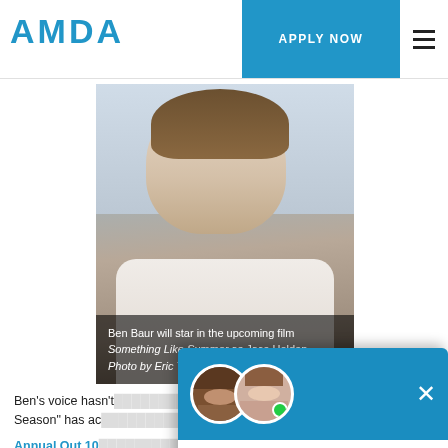AMDA
more people can voice these things, the more space and the less anyone is gonna be about acting.
[Figure (photo): Headshot of Ben Baur, young man with short brown hair, white shirt, outdoor background]
Ben Baur will star in the upcoming film Something Like Summer as Jace Holden. Photo by Eric Tronolone.
Ben’s voice hasn’t …. The attention “Hunting Season” has ac… Ben’s performa…
Annual Out 10… public figures n… community.
That social imp… his acting. Ben… audience through universal struggles. “I like to play